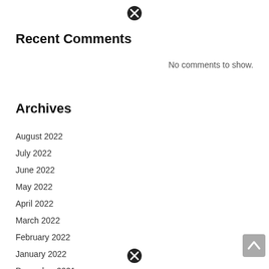[Figure (other): Close/cancel button icon (circle with X) at top center]
Recent Comments
No comments to show.
Archives
August 2022
July 2022
June 2022
May 2022
April 2022
March 2022
February 2022
January 2022
December 2021
November 2021
October 2021
[Figure (other): Close/cancel button icon (circle with X) at bottom center]
[Figure (other): Scroll to top button (gray rounded square with up arrow) at bottom right]